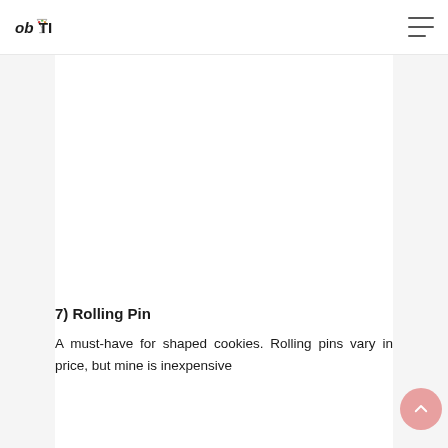obYTIC
[Figure (illustration): Large white/blank image placeholder area in the content region]
7) Rolling Pin
A must-have for shaped cookies. Rolling pins vary in price, but mine is inexpensive